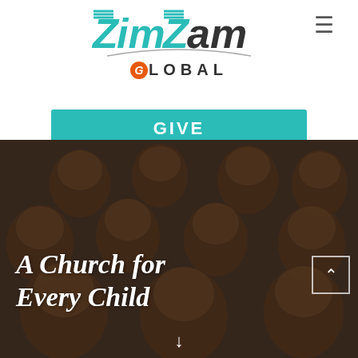[Figure (logo): ZimZam Global logo with teal stylized lettering and orange G circle]
GIVE
[Figure (photo): Group of smiling African children photographed from above, dark overlay with text 'A Church for Every Child' in white script, scroll-down arrow at bottom]